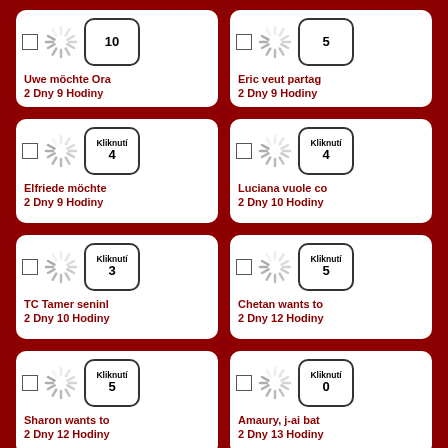[Figure (screenshot): UI card grid showing user activity items with spinners, click badges, names, and timestamps]
Uwe möchte Ora
2 Dny 9 Hodiny
Eric veut partag
2 Dny 9 Hodiny
Kliknutí 4
Elfriede möchte
2 Dny 9 Hodiny
Kliknutí 4
Luciana vuole co
2 Dny 10 Hodiny
Kliknutí 3
TC Tamer seninl
2 Dny 10 Hodiny
Kliknutí 5
Chetan wants to
2 Dny 12 Hodiny
Kliknutí 5
Sharon wants to
2 Dny 12 Hodiny
Kliknutí 0
Amaury, j-ai bat
2 Dny 13 Hodiny